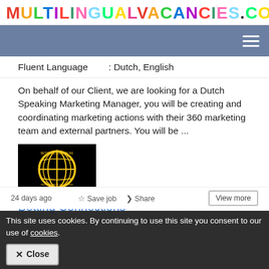MULTILINGUALVACANCIES.COM
Fluent Language : Dutch, English
On behalf of our Client, we are looking for a Dutch Speaking Marketing Manager, you will be creating and coordinating marketing actions with their 360 marketing team and external partners. You will be ...
[Figure (logo): Betting Connections company logo - black background with yellow globe emblem]
Betting Connections
24 days ago
View more
Save job
Share
This site uses cookies. By continuing to use this site you consent to our use of cookies.